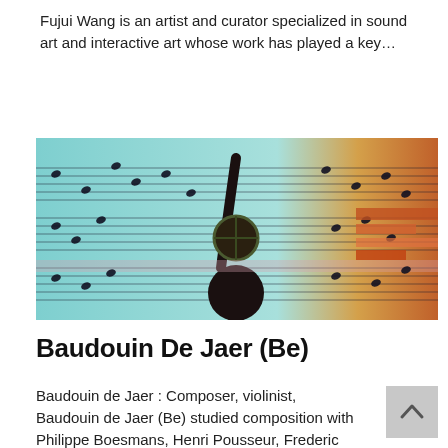Fujui Wang is an artist and curator specialized in sound art and interactive art whose work has played a key…
[Figure (photo): A person viewed from behind raising one arm in front of a large colorful projected music score display.]
Baudouin De Jaer (Be)
Baudouin de Jaer : Composer, violinist, Baudouin de Jaer (Be) studied composition with Philippe Boesmans, Henri Pousseur, Frederic Rzewski also…